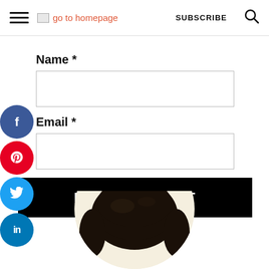go to homepage  SUBSCRIBE
Name *
Email *
POST COMMENT
[Figure (photo): Top of a person's head with dark hair, circular crop on white/cream background, at bottom of page]